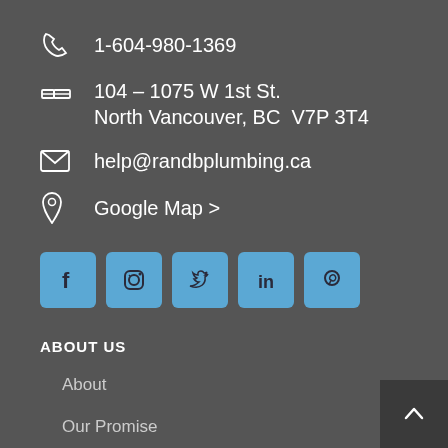1-604-980-1369
104 – 1075 W 1st St.
North Vancouver, BC  V7P 3T4
help@randbplumbing.ca
Google Map >
[Figure (illustration): Row of 5 social media icons: Facebook, Instagram, Twitter, LinkedIn, Pinterest — all in light blue rounded square buttons]
ABOUT US
About
Our Promise
Contact